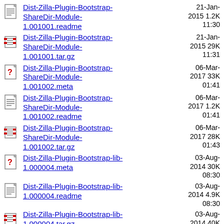Dist-Zilla-Plugin-Bootstrap-ShareDir-Module-1.001001.readme  21-Jan-2015 11:30  1.2K
Dist-Zilla-Plugin-Bootstrap-ShareDir-Module-1.001001.tar.gz  21-Jan-2015 11:31  29K
Dist-Zilla-Plugin-Bootstrap-ShareDir-Module-1.001002.meta  06-Mar-2017 01:41  33K
Dist-Zilla-Plugin-Bootstrap-ShareDir-Module-1.001002.readme  06-Mar-2017 01:41  1.2K
Dist-Zilla-Plugin-Bootstrap-ShareDir-Module-1.001002.tar.gz  06-Mar-2017 01:43  28K
Dist-Zilla-Plugin-Bootstrap-lib-1.000004.meta  03-Aug-2014 08:30  30K
Dist-Zilla-Plugin-Bootstrap-lib-1.000004.readme  03-Aug-2014 08:30  4.9K
Dist-Zilla-Plugin-Bootstrap-lib-1.000004.tar.gz  03-Aug-2014 08:30  40K